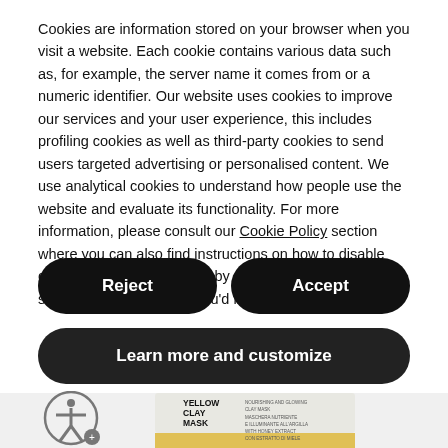Cookies are information stored on your browser when you visit a website. Each cookie contains various data such as, for example, the server name it comes from or a numeric identifier. Our website uses cookies to improve our services and your user experience, this includes profiling cookies as well as third-party cookies to send users targeted advertising or personalised content. We use analytical cookies to understand how people use the website and evaluate its functionality. For more information, please consult our Cookie Policy section where you can also find instructions on how to disable cookies. Accept all cookies by clicking on ACCEPT, or select the specific types you'd like to allow.
Reject
Accept
Learn more and customize
[Figure (photo): Product image showing a Yellow Clay Mask tube with text: NOURISHING AND GLOWING CLAY MASK, MASCHERA NUTRIENTE E ILLUMINANTE ALL'ARGILLA, WITH HONEY EXTRACT, CON ESTRATTO DI MIELE]